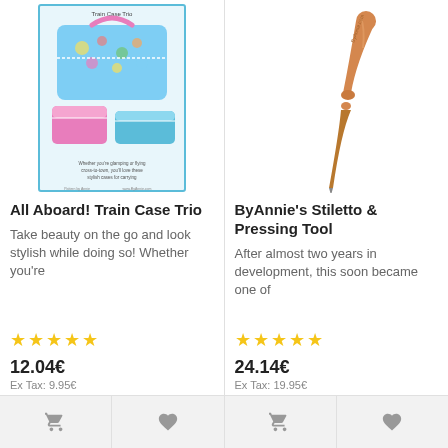[Figure (photo): Product image of All Aboard! Train Case Trio sewing pattern showing colorful train case bags]
All Aboard! Train Case Trio
Take beauty on the go and look stylish while doing so! Whether you're
★★★★★ 12.04€ Ex Tax: 9.95€
[Figure (photo): Product image of ByAnnie's Stiletto & Pressing Tool, a wooden-handled sewing tool]
ByAnnie's Stiletto & Pressing Tool
After almost two years in development, this soon became one of
★★★★★ 24.14€ Ex Tax: 19.95€